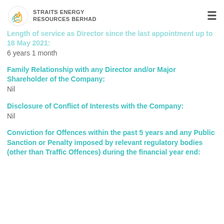STRAITS ENERGY RESOURCES BERHAD
Length of service as Director since the last appointment up to 18 May 2021:
6 years 1 month
Family Relationship with any Director and/or Major Shareholder of the Company:
Nil
Disclosure of Conflict of Interests with the Company:
Nil
Conviction for Offences within the past 5 years and any Public Sanction or Penalty imposed by relevant regulatory bodies (other than Traffic Offences) during the financial year end: